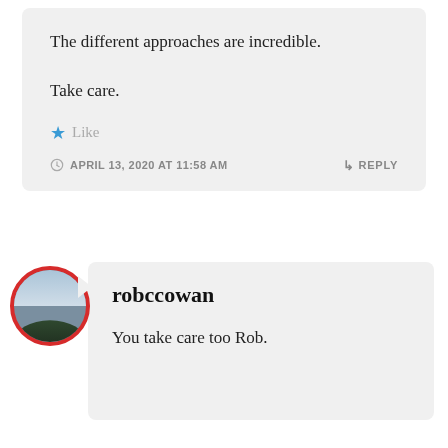The different approaches are incredible.

Take care.
★ Like
APRIL 13, 2020 AT 11:58 AM
↳ REPLY
robccowan
You take care too Rob.